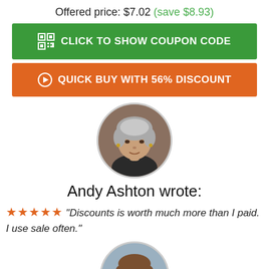Offered price: $7.02 (save $8.93)
CLICK TO SHOW COUPON CODE
QUICK BUY WITH 56% DISCOUNT
[Figure (photo): Circular avatar photo of Andy Ashton, an older woman with gray hair]
Andy Ashton wrote:
★★★★★ "Discounts is worth much more than I paid. I use sale often."
[Figure (photo): Circular avatar photo of a middle-aged man with short brown hair, smiling]